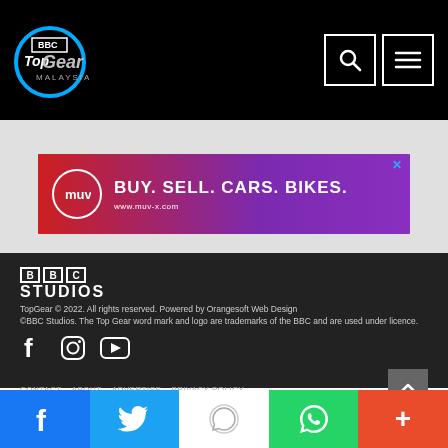[Figure (logo): BBC Top Gear Malaysia logo in white on black header background]
[Figure (screenshot): Navigation icons: search (magnifying glass) and menu (hamburger) in white bordered boxes]
[Figure (infographic): Advertisement banner: MUV logo with text BUY. SELL. CARS. BIKES. www.muv-x.com on red to purple gradient background]
[Figure (logo): BBC Studios logo: three white boxes with B, B, C letters, and STUDIOS text below]
TopGear © 2022. All rights reserved. Powered by Orangesoft Web Design
©BBC Studios. The Top Gear word mark and logo are trademarks of the BBC and are used under licence.
[Figure (infographic): Social media icons: Facebook, Instagram, YouTube in white on dark background]
CONTACT  ABOUT  ADVERTISE  PRIVACY POLICY
[Figure (infographic): Share bar at bottom: Facebook (blue), Twitter (light blue), WhatsApp white logo, WhatsApp green, More (orange-red)]